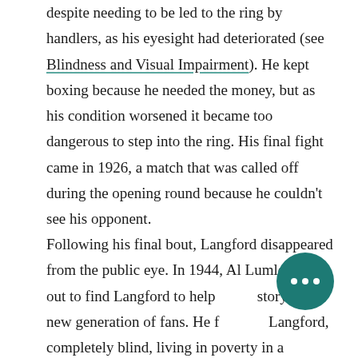despite needing to be led to the ring by handlers, as his eyesight had deteriorated (see Blindness and Visual Impairment). He kept boxing because he needed the money, but as his condition worsened it became too dangerous to step into the ring. His final fight came in 1926, a match that was called off during the opening round because he couldn't see his opponent.
Following his final bout, Langford disappeared from the public eye. In 1944, Al Lumley set out to find Langford to help his story to a new generation of fans. He found Langford, completely blind, living in poverty in a Harlem, New York tenement. Once